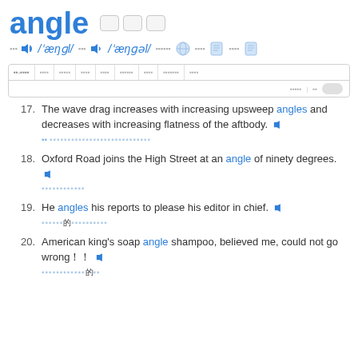angle
US /ˈæŋɡl/ UK /ˈæŋɡəl/
17. The wave drag increases with increasing upsweep angles and decreases with increasing flatness of the aftbody.
18. Oxford Road joins the High Street at an angle of ninety degrees.
19. He angles his reports to please his editor in chief.
20. American king's soap angle shampoo, believed me, could not go wrong！！